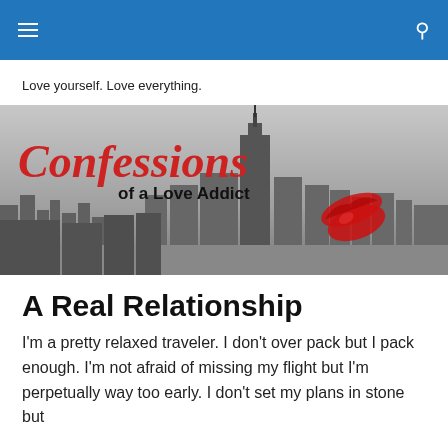Love yourself. Love everything.
[Figure (illustration): Blog banner for 'Confessions of a Love Addict' — black and white New York City skyline with Empire State Building, red cursive 'Confessions' text, bold 'of a Love Addict' subtitle, and a red lipstick kiss mark in the bottom right]
A Real Relationship
I'm a pretty relaxed traveler. I don't over pack but I pack enough. I'm not afraid of missing my flight but I'm perpetually way too early. I don't set my plans in stone but